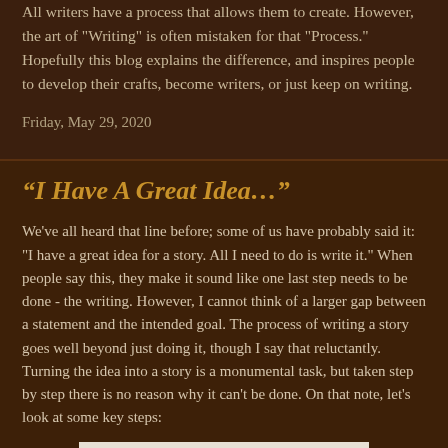All writers have a process that allows them to create. However, the art of "Writing" is often mistaken for that "Process." Hopefully this blog explains the difference, and inspires people to develop their crafts, become writers, or just keep on writing.
Friday, May 29, 2020
“I Have A Great Idea…”
We've all heard that line before; some of us have probably said it: "I have a great idea for a story. All I need to do is write it." When people say this, they make it sound like one last step needs to be done - the writing. However, I cannot think of a larger gap between a statement and the intended goal. The process of writing a story goes well beyond just doing it, though I say that reluctantly. Turning the idea into a story is a monumental task, but taken step by step there is no reason why it can't be done. On that note, let's look at some key steps:
[Figure (other): Partial image visible at bottom of page, white/light colored background with some content]